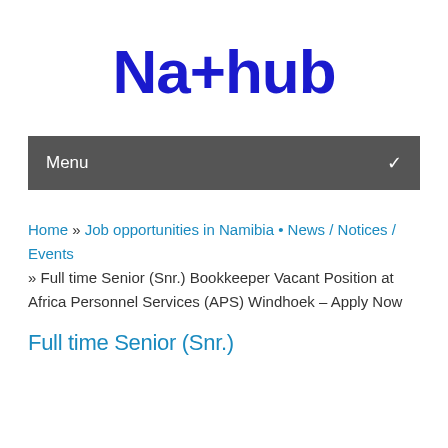Na+hub
Menu
Home » Job opportunities in Namibia • News / Notices / Events » Full time Senior (Snr.) Bookkeeper Vacant Position at Africa Personnel Services (APS) Windhoek – Apply Now
Full time Senior (Snr.)